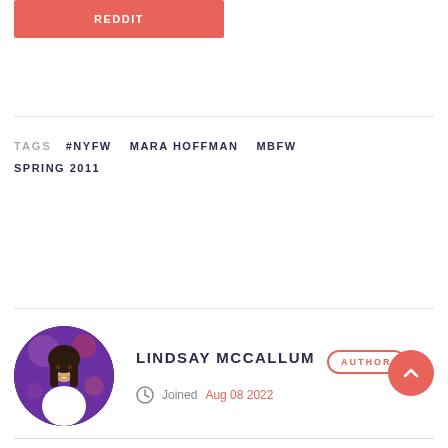[Figure (other): Reddit share button with salmon/red background and white bold REDDIT text]
TAGS   #NYFW   MARA HOFFMAN   MBFW
SPRING 2011
[Figure (photo): Circular author avatar photo of Lindsay McCallum, woman with long dark hair wearing white, purple-toned bokeh background]
LINDSAY MCCALLUM  AUTHOR  Joined Aug 08 2022